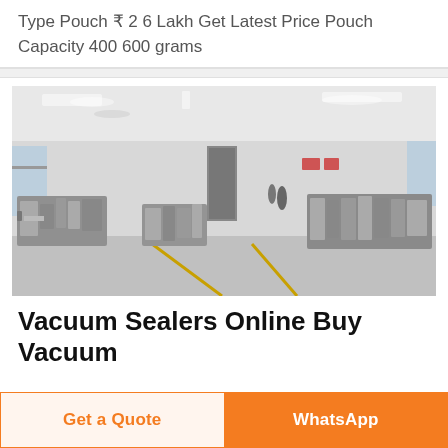Type Pouch ₹ 2 6 Lakh Get Latest Price Pouch Capacity 400 600 grams
[Figure (photo): Interior of a factory or manufacturing floor showing rows of industrial packaging or sealing machines arranged in a large white room with ceiling lights and yellow floor markings.]
Vacuum Sealers Online Buy Vacuum
Get a Quote
WhatsApp